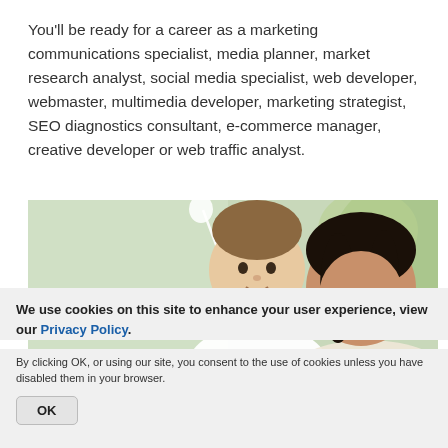You'll be ready for a career as a marketing communications specialist, media planner, market research analyst, social media specialist, web developer, webmaster, multimedia developer, marketing strategist, SEO diagnostics consultant, e-commerce manager, creative developer or web traffic analyst.
[Figure (photo): Photo of a smiling baby/toddler in a white shirt holding a small white flower, with a woman wearing glasses smiling beside/behind the baby. Green blurred background.]
We use cookies on this site to enhance your user experience, view our Privacy Policy.
By clicking OK, or using our site, you consent to the use of cookies unless you have disabled them in your browser.
OK